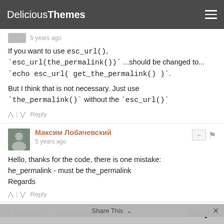DeliciousThemes
5 years ago
If you want to use esc_url(), `esc_url(the_permalink())` ...should be changed to... `echo esc_url( get_the_permalink() )`.
But I think that is not necessary. Just use `the_permalink()` without the `esc_url()`
^ | v Reply
Максим Лобачевский
5 years ago
Hello, thanks for the code, there is one mistake:
he_permalink - must be the_permalink
Regards
^ | v Reply
Subscribe  Do Not Sell My Data   DISQUS